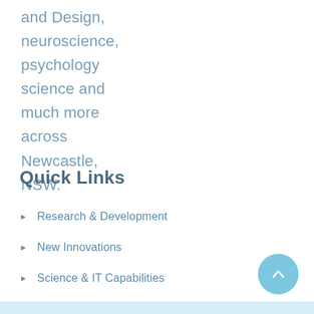and Design, neuroscience, psychology science and much more across Newcastle, NSW.
Quick Links
Research & Development
New Innovations
Science & IT Capabilities
Neuroscience Group